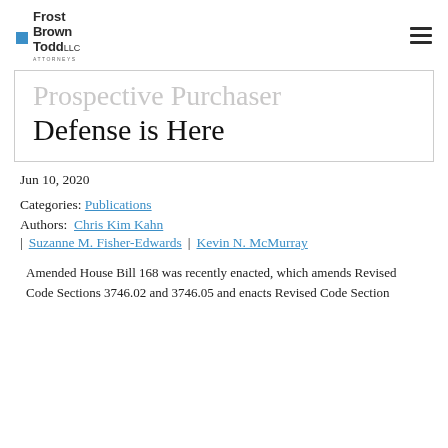Frost Brown Todd LLC — Attorneys
Prospective Purchaser Defense is Here
Jun 10, 2020
Categories: Publications
Authors: Chris Kim Kahn | Suzanne M. Fisher-Edwards | Kevin N. McMurray
Amended House Bill 168 was recently enacted, which amends Revised Code Sections 3746.02 and 3746.05 and enacts Revised Code Section